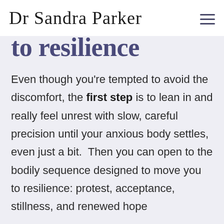Dr Sandra Parker
to resilience
Even though you're tempted to avoid the discomfort, the first step is to lean in and really feel unrest with slow, careful precision until your anxious body settles, even just a bit.  Then you can open to the bodily sequence designed to move you to resilience: protest, acceptance, stillness, and renewed hope